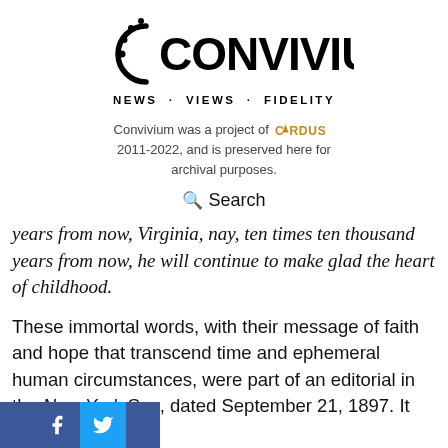[Figure (logo): Convivium logo — circular dot-and-arc symbol followed by CONVIVIUM text in bold, then NEWS · VIEWS · FIDELITY subtitle]
Convivium was a project of CARDUS 2011-2022, and is preserved here for archival purposes.
🔍 Search
years from now, Virginia, nay, ten times ten thousand years from now, he will continue to make glad the heart of childhood.
These immortal words, with their message of faith and hope that transcend time and ephemeral human circumstances, were part of an editorial in the New York Sun, dated September 21, 1897. It was written
[Figure (illustration): Social media icons bar — Facebook (blue) and Twitter (blue) icons at bottom left]